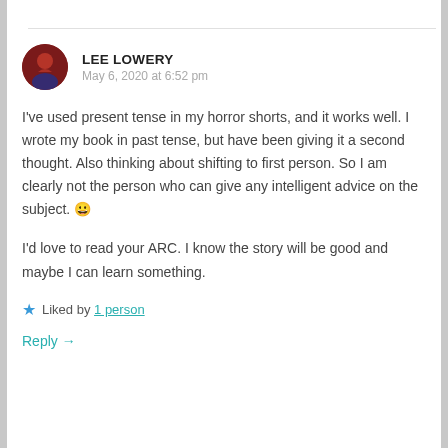LEE LOWERY
May 6, 2020 at 6:52 pm
I've used present tense in my horror shorts, and it works well. I wrote my book in past tense, but have been giving it a second thought. Also thinking about shifting to first person. So I am clearly not the person who can give any intelligent advice on the subject. 😀
I'd love to read your ARC. I know the story will be good and maybe I can learn something.
Liked by 1 person
Reply →